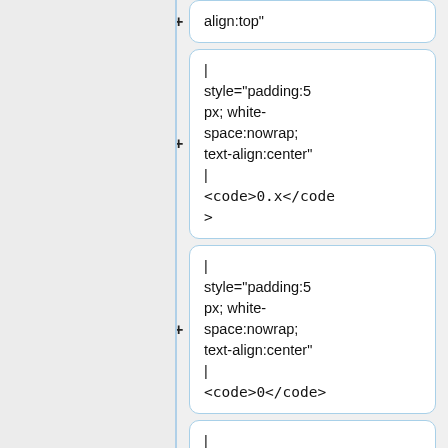align:top"
| style="padding:5 px; white-space:nowrap; text-align:center" | <code>0.x</code>
| style="padding:5 px; white-space:nowrap; text-align:center" | <code>0</code>
| style="padding:5 px" | Zero vector dot any vector is zero.